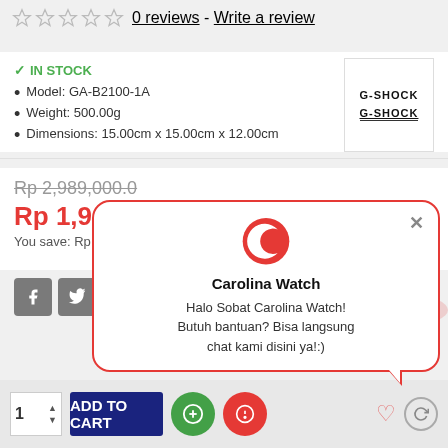0 reviews - Write a review
IN STOCK
Model: GA-B2100-1A
Weight: 500.00g
Dimensions: 15.00cm x 15.00cm x 12.00cm
[Figure (logo): G-SHOCK brand logo box]
Rp 2,989,000.0
Rp 1,942,85
You save: Rp 1,046,150.0
[Figure (infographic): Carolina Watch chat popup with logo, title and message: Halo Sobat Carolina Watch! Butuh bantuan? Bisa langsung chat kami disini ya!:)]
ADD TO CART